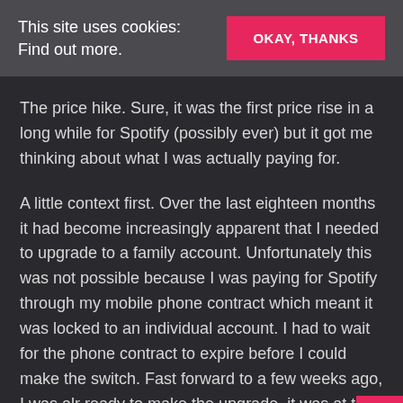This site uses cookies: Find out more.
The price hike. Sure, it was the first price rise in a long while for Spotify (possibly ever) but it got me thinking about what I was actually paying for.
A little context first. Over the last eighteen months it had become increasingly apparent that I needed to upgrade to a family account. Unfortunately this was not possible because I was paying for Spotify through my mobile phone contract which meant it was locked to an individual account. I had to wait for the phone contract to expire before I could make the switch. Fast forward to a few weeks ago, I was alr ready to make the upgrade, it was at this exact